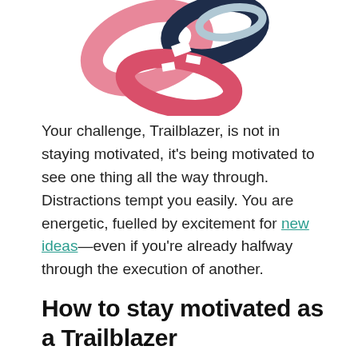[Figure (illustration): Colorful abstract illustration of intertwined loop shapes in pink, navy blue, light blue, and red/pink tones, partially cropped at the top of the page.]
Your challenge, Trailblazer, is not in staying motivated, it's being motivated to see one thing all the way through. Distractions tempt you easily. You are energetic, fuelled by excitement for new ideas—even if you're already halfway through the execution of another.
How to stay motivated as a Trailblazer